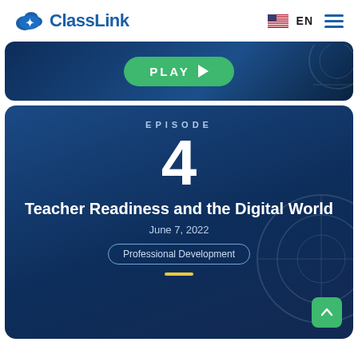[Figure (logo): ClassLink logo with cloud icon and blue text]
[Figure (screenshot): Play button card with dark blue background and green PLAY button with arrow]
EPISODE
4
Teacher Readiness and the Digital World
June 7, 2022
Professional Development